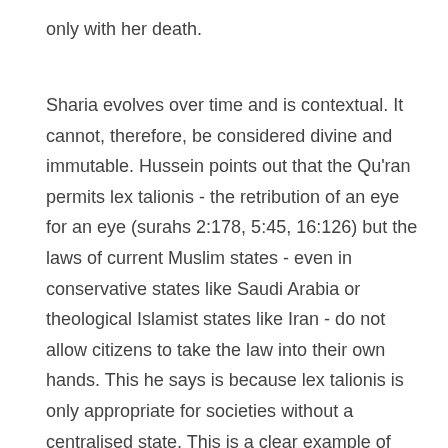only with her death.
Sharia evolves over time and is contextual. It cannot, therefore, be considered divine and immutable. Hussein points out that the Qu'ran permits lex talionis - the retribution of an eye for an eye (surahs 2:178, 5:45, 16:126) but the laws of current Muslim states - even in conservative states like Saudi Arabia or theological Islamist states like Iran - do not allow citizens to take the law into their own hands. This he says is because lex talionis is only appropriate for societies without a centralised state. This is a clear example of Sharia being developed to fit the present context - even where the Qu'ran permits an act. Similarly, slavery is banned in